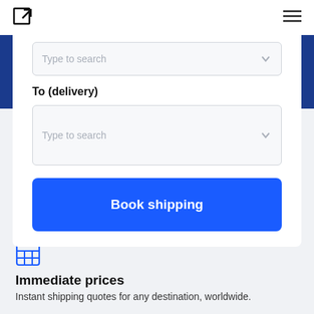[Figure (logo): External link / share icon (square with arrow pointing out)]
[Figure (other): Hamburger menu icon (three horizontal lines)]
Type to search
To (delivery)
Type to search
Book shipping
[Figure (other): Blue grid/table icon representing immediate prices]
Immediate prices
Instant shipping quotes for any destination, worldwide.
[Figure (other): Blue truck/delivery icon]
Matc...